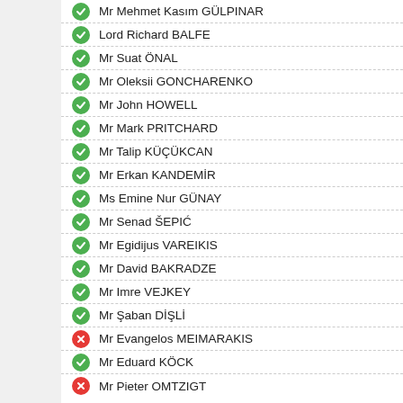Mr Mehmet Kasım GÜLPINAR
Lord Richard BALFE
Mr Suat ÖNAL
Mr Oleksii GONCHARENKO
Mr John HOWELL
Mr Mark PRITCHARD
Mr Talip KÜÇÜKCAN
Mr Erkan KANDEMİR
Ms Emine Nur GÜNAY
Mr Senad ŠEPIĆ
Mr Egidijus VAREIKIS
Mr David BAKRADZE
Mr Imre VEJKEY
Mr Şaban DİŞLİ
Mr Evangelos MEIMARAKIS
Mr Eduard KÖCK
Mr Pieter OMTZIGT